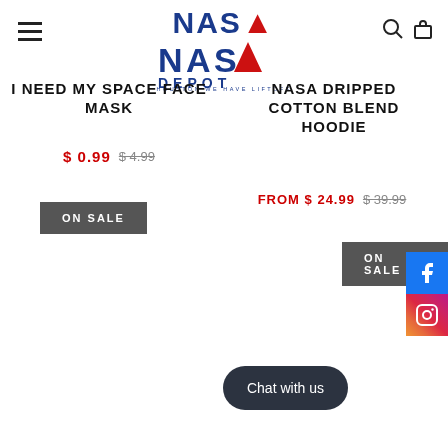NASA DEPOT - HOUSTON WE HAVE LIFTOFF
I NEED MY SPACE FACE MASK
$ 0.99  $ 4.99
ON SALE
NASA DRIPPED COTTON BLEND HOODIE
FROM $ 24.99  $ 39.99
ON SALE
Chat with us